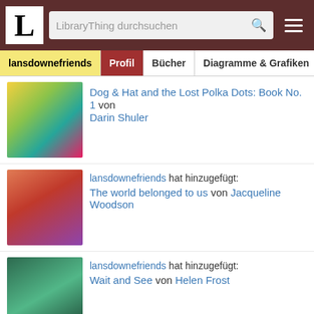[Figure (screenshot): LibraryThing website header with logo L, search bar, and hamburger menu on dark red background]
lansdownefriends | Profil | Bücher | Diagramme & Grafiken
Dog & Hat and the Lost Polka Dots: Book No. 1 von Darin Shuler
lansdownefriends hat hinzugefügt: The world belonged to us von Jacqueline Woodson
lansdownefriends hat hinzugefügt: Wait and See von Helen Frost
Diese Seite verwendet Cookies für unsere Dienste, zur Verbesserung unserer Leistungen, für Analytik und (falls Sie nicht eingeloggt sind) für Werbung. Indem Sie LibraryThing nutzen, erklären Sie dass Sie unsere Nutzungsbedingungen und Datenschutzrichtlinie gelesen und verstanden haben. Die Nutzung unserer Webseite und Dienste unterliegt diesen Richtlinien und Geschäftsbedingungen.